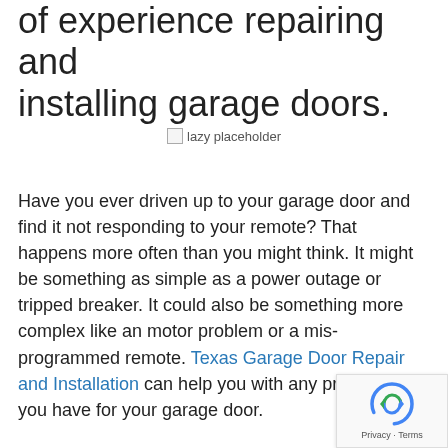of experience repairing and installing garage doors.
[Figure (other): Lazy placeholder image (broken image placeholder with text 'lazy placeholder')]
Have you ever driven up to your garage door and find it not responding to your remote? That happens more often than you might think. It might be something as simple as a power outage or tripped breaker. It could also be something more complex like an motor problem or a mis-programmed remote. Texas Garage Door Repair and Installation can help you with any problem you have for your garage door.